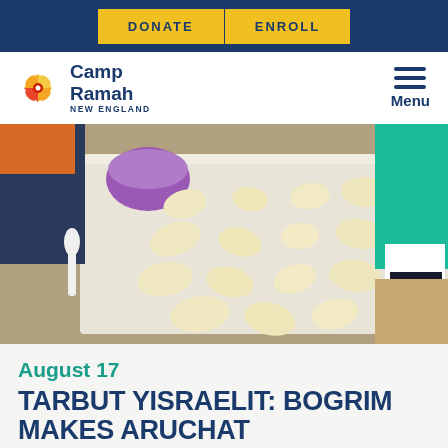DONATE  ENROLL
[Figure (logo): Camp Ramah New England logo with colorful pinwheel icon]
[Figure (photo): Flatbread dough pieces laid out on white parchment paper on a baking tray, with a purple mixing bowl and a white spoon visible. A person in a teal shirt is visible on the right side.]
August 17
TARBUT YISRAELIT: BOGRIM MAKES ARUCHAT